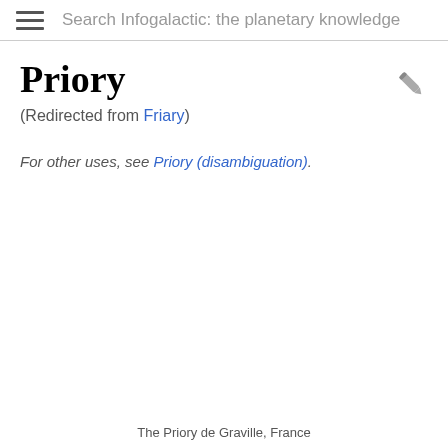Search Infogalactic: the planetary knowledge
Priory
(Redirected from Friary)
For other uses, see Priory (disambiguation).
The Priory de Graville, France